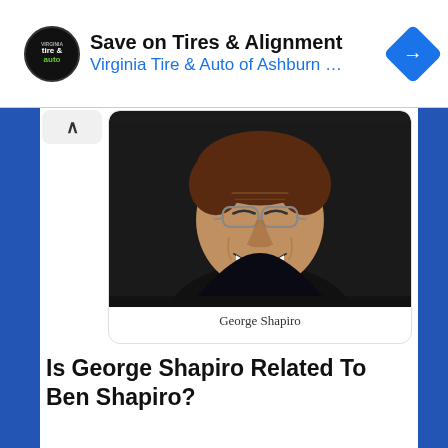[Figure (infographic): Advertisement banner for Virginia Tire & Auto of Ashburn featuring a circular black tire logo with 'tire & auto' text, headline 'Save on Tires & Alignment', subline 'Virginia Tire & Auto of Ashburn …', and a blue diamond navigation icon on the right.]
[Figure (photo): Portrait photograph of George Shapiro, an older smiling man with glasses, wearing a dark shirt, against a dark background.]
George Shapiro
Is George Shapiro Related To Ben Shapiro?
The connection between George and Ben Shapiro